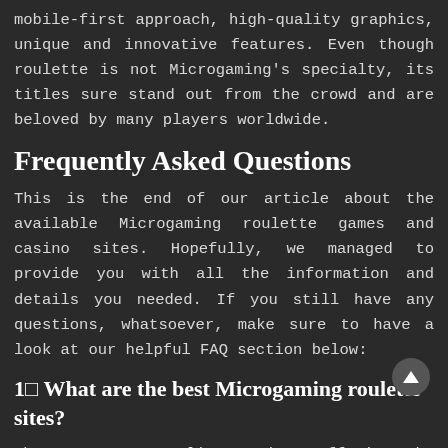mobile-first approach, high-quality graphics, unique and innovative features. Even though roulette is not Microgaming's specialty, its titles sure stand out from the crowd and are beloved by many players worldwide.
Frequently Asked Questions
This is the end of our article about the available Microgaming roulette games and casino sites. Hopefully, we managed to provide you with all the information and details you needed. If you still have any questions, whatsoever, make sure to have a look at our helpful FAQ section below:
1□ What are the best Microgaming roulette sites?
There are many online casinos offering the Microgaming roulette software. The best Microgaming roulette sites are also among the most popular operators among